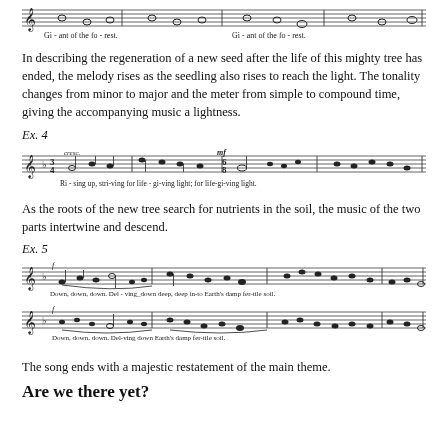[Figure (illustration): Sheet music notation showing 'Giant of the forest' vocal line with lyrics beneath]
In describing the regeneration of a new seed after the life of this mighty tree has ended, the melody rises as the seedling also rises to reach the light. The tonality changes from minor to major and the meter from simple to compound time, giving the accompanying music a lightness.
Ex. 4
[Figure (illustration): Sheet music notation Ex. 4 with lyrics: Ri-sing up, stri-ving for life-gi-ving light; for life-gi-ving light.]
As the roots of the new tree search for nutrients in the soil, the music of the two parts intertwine and descend.
Ex. 5
[Figure (illustration): Sheet music notation Ex. 5 two-staff with lyrics: Down, down, down. Del-ving down deep, deep in-to Earth's damp fer-tile soil. / Down, down, down. Del-ving down. Earth's damp fer-tile soil.]
The song ends with a majestic restatement of the main theme.
Are we there yet?